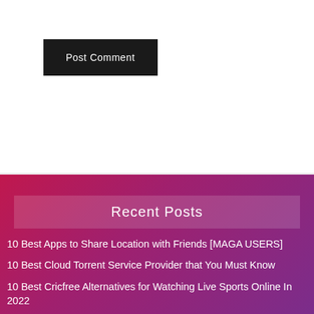Post Comment
Recent Posts
10 Best Apps to Share Location with Friends [MAGA USERS]
10 Best Cloud Torrent Service Provider that You Must Know
10 Best Cricfree Alternatives for Watching Live Sports Online In 2022